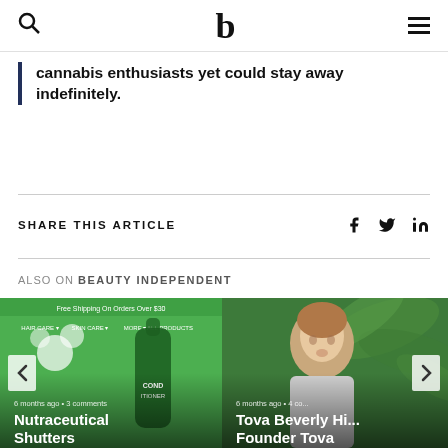Beauty Independent (logo + search + menu)
cannabis enthusiasts yet could stay away indefinitely.
SHARE THIS ARTICLE
ALSO ON BEAUTY INDEPENDENT
[Figure (photo): Green product image for Nutraceutical Shutters article, 6 months ago, 3 comments]
[Figure (photo): Woman portrait for Tova Beverly Hills / Founder Tova article, 6 months ago, 4 comments]